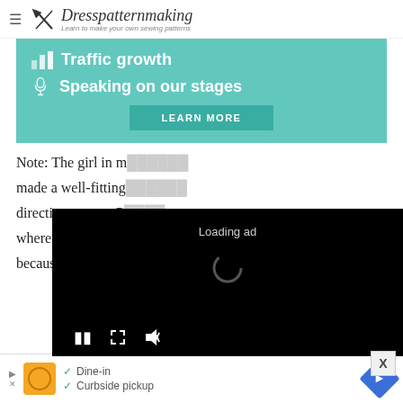Dresspatternmaking — Learn to make your own sewing patterns
[Figure (infographic): Teal advertisement banner with bar chart icon and text 'Traffic growth', microphone icon and text 'Speaking on our stages', and a dark teal 'LEARN MORE' button]
Note: The girl in m[y story] made a well-fitting [dress by following] directions, was a P[erfect figure] where she worked [and] because her figur[e was a]
[Figure (screenshot): Black video player overlay showing 'Loading ad' text, a spinning loading indicator, and playback controls (pause, expand, mute)]
Size 10), the company used her to fit their
[Figure (infographic): Bottom advertisement strip showing play button, orange restaurant logo, checkmarks with 'Dine-in' and 'Curbside pickup' text, and blue navigation diamond icon]